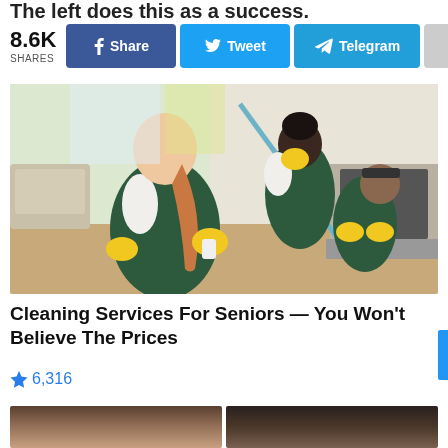The left does this as a success.
8.6K SHARES | Share | Tweet | Telegram | +
[Figure (photo): Three people in green overalls and yellow gloves cleaning a living room. One woman in foreground crouching with spray bottle, one woman in background mopping, one man in background cleaning near fireplace.]
Cleaning Services For Seniors — You Won't Believe The Prices
🔥 6,316
[Figure (photo): Two partial photos of people at bottom of page, cropped.]